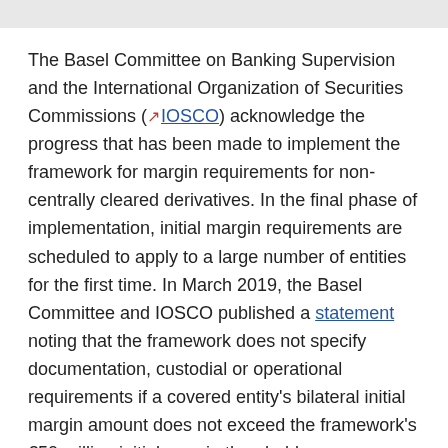The Basel Committee on Banking Supervision and the International Organization of Securities Commissions (IOSCO) acknowledge the progress that has been made to implement the framework for margin requirements for non-centrally cleared derivatives. In the final phase of implementation, initial margin requirements are scheduled to apply to a large number of entities for the first time. In March 2019, the Basel Committee and IOSCO published a statement noting that the framework does not specify documentation, custodial or operational requirements if a covered entity's bilateral initial margin amount does not exceed the framework's €50 million initial margin threshold.